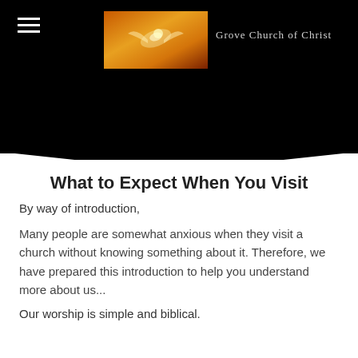[Figure (screenshot): Grove Church of Christ website header. Black background with hamburger menu icon on the left, a rectangular logo image with orange/gold gradient and dove in center, and church name 'Grove Church of Christ' in grey serif text to the right. A dark downward-pointing chevron at the bottom of the header.]
What to Expect When You Visit
By way of introduction,
Many people are somewhat anxious when they visit a church without knowing something about it. Therefore, we have prepared this introduction to help you understand more about us...
Our worship is simple and biblical.